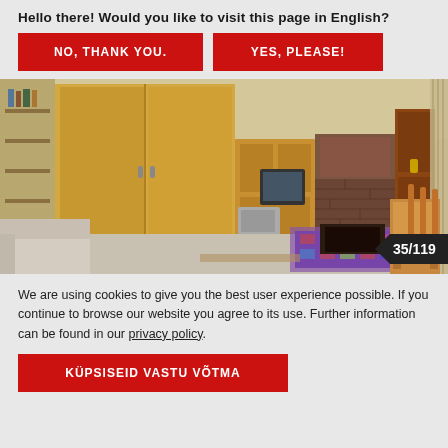Hello there! Would you like to visit this page in English?
NO, THANK YOU.
YES, PLEASE!
[Figure (photo): Interior room photo showing a living space with wooden wardrobes, a fireplace made of brick, a brown door, a rug, wooden chairs, and a sofa. Badge showing 35/119 in bottom right corner.]
We are using cookies to give you the best user experience possible. If you continue to browse our website you agree to its use. Further information can be found in our privacy policy.
KÜPSISEID VASTU VÕTMA